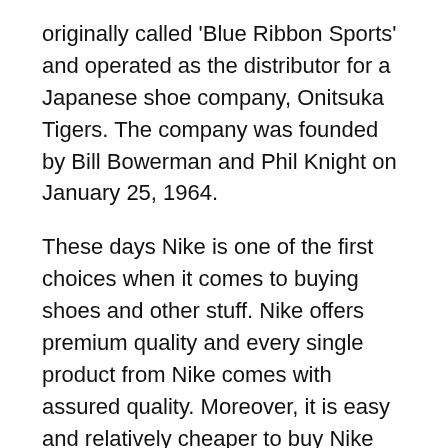originally called 'Blue Ribbon Sports' and operated as the distributor for a Japanese shoe company, Onitsuka Tigers. The company was founded by Bill Bowerman and Phil Knight on January 25, 1964.
These days Nike is one of the first choices when it comes to buying shoes and other stuff. Nike offers premium quality and every single product from Nike comes with assured quality. Moreover, it is easy and relatively cheaper to buy Nike products off of the internet, from the comfort of the home. Many times, companies and online retailers like BravoDeal provide customers with discount coupons, especially during the festive and holiday season.
However, the MNC has not always been the way we know it now. It has had its fair share of history and struggles. Provided below is a brief history of the brand: